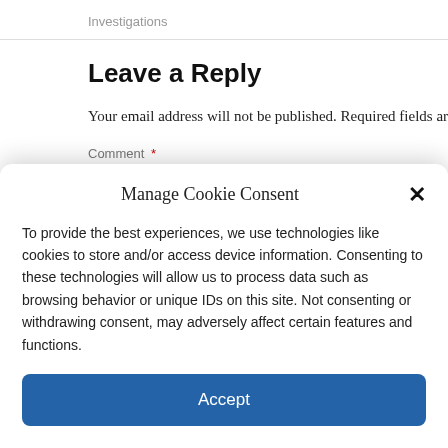Investigations
Leave a Reply
Your email address will not be published. Required fields are m
Comment *
Manage Cookie Consent
To provide the best experiences, we use technologies like cookies to store and/or access device information. Consenting to these technologies will allow us to process data such as browsing behavior or unique IDs on this site. Not consenting or withdrawing consent, may adversely affect certain features and functions.
Accept